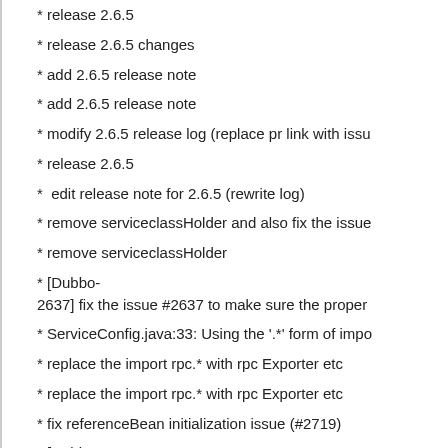* release 2.6.5
* release 2.6.5 changes
* add 2.6.5 release note
* add 2.6.5 release note
* modify 2.6.5 release log (replace pr link with issu
* release 2.6.5
*  edit release note for 2.6.5 (rewrite log)
* remove serviceclassHolder and also fix the issue
* remove serviceclassHolder
* [Dubbo-2637] fix the issue #2637 to make sure the proper
* ServiceConfig.java:33: Using the '.*' form of impo
* replace the import rpc.* with rpc Exporter etc
* replace the import rpc.* with rpc Exporter etc
* fix referenceBean initialization issue (#2719)
* [Dubbo-